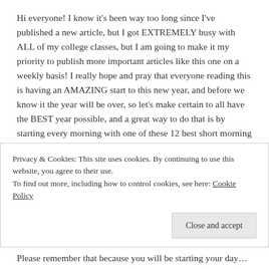Hi everyone! I know it's been way too long since I've published a new article, but I got EXTREMELY busy with ALL of my college classes, but I am going to make it my priority to publish more important articles like this one on a weekly basis! I really hope and pray that everyone reading this is having an AMAZING start to this new year, and before we know it the year will be over, so let's make certain to all have the BEST year possible, and a great way to do that is by starting every morning with one of these 12 best short morning prayers to get your day started with!
Privacy & Cookies: This site uses cookies. By continuing to use this website, you agree to their use.
To find out more, including how to control cookies, see here: Cookie Policy
Close and accept
Please remember that because you will be starting your day...